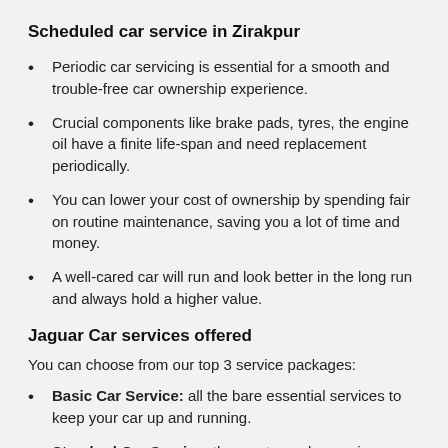Scheduled car service in Zirakpur
Periodic car servicing is essential for a smooth and trouble-free car ownership experience.
Crucial components like brake pads, tyres, the engine oil have a finite life-span and need replacement periodically.
You can lower your cost of ownership by spending fair on routine maintenance, saving you a lot of time and money.
A well-cared car will run and look better in the long run and always hold a higher value.
Jaguar Car services offered
You can choose from our top 3 service packages:
Basic Car Service: all the bare essential services to keep your car up and running.
Standard Car Service: the most popular service